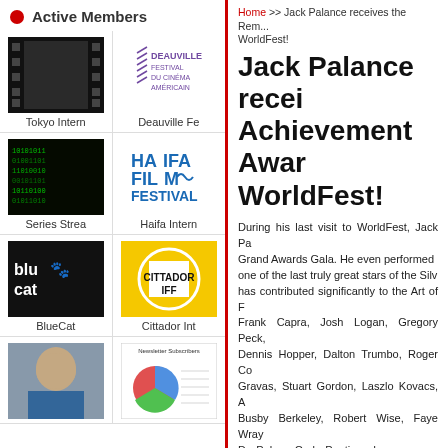Active Members
[Figure (logo): Tokyo International Film Festival logo - film strip style black square]
Tokyo Intern
[Figure (logo): Deauville Festival du Cinéma Américain logo - purple text]
Deauville Fe
[Figure (photo): Series Streaming - green matrix code background]
Series Strea
[Figure (logo): Haifa Film Festival logo - blue text on white]
Haifa Intern
[Figure (logo): BlueCat screenplay competition logo - blue cat face on black background]
BlueCat
[Figure (logo): Cittador IFF logo - white square in yellow circle on yellow background]
Cittador Int
[Figure (photo): Bald man portrait photo]
[Figure (screenshot): Newsletter Subscribers thumbnail with pie chart]
Home >> Jack Palance receives the Rembrandt Achievement Award at WorldFest!
Jack Palance receives the Achievement Award at WorldFest!
During his last visit to WorldFest, Jack Pa... Grand Awards Gala. He even performed ... one of the last truly great stars of the Silv... has contributed significantly to the Art of F... Frank Capra, Josh Logan, Gregory Peck,... Dennis Hopper, Dalton Trumbo, Roger Co... Gravas, Stuart Gordon, Laszlo Kovacs, A... Busby Berkeley, Robert Wise, Faye Wray... De Palma, Carlo Ponti, and many many m...
[Figure (photo): Close-up photo of sparkling crystal or glass object]